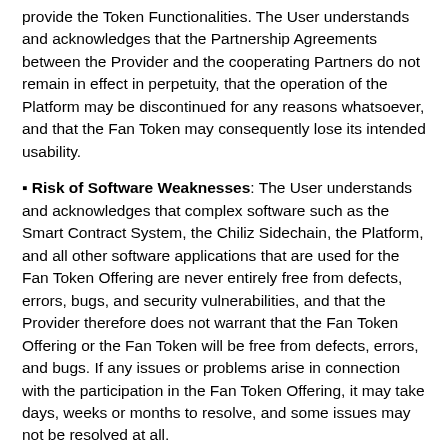provide the Token Functionalities. The User understands and acknowledges that the Partnership Agreements between the Provider and the cooperating Partners do not remain in effect in perpetuity, that the operation of the Platform may be discontinued for any reasons whatsoever, and that the Fan Token may consequently lose its intended usability.
▪ Risk of Software Weaknesses: The User understands and acknowledges that complex software such as the Smart Contract System, the Chiliz Sidechain, the Platform, and all other software applications that are used for the Fan Token Offering are never entirely free from defects, errors, bugs, and security vulnerabilities, and that the Provider therefore does not warrant that the Fan Token Offering or the Fan Token will be free from defects, errors, and bugs. If any issues or problems arise in connection with the participation in the Fan Token Offering, it may take days, weeks or months to resolve, and some issues may not be resolved at all.
▪ Risk of Transaction Verification: The User understands and acknowledges that the allocation of Fan Token after